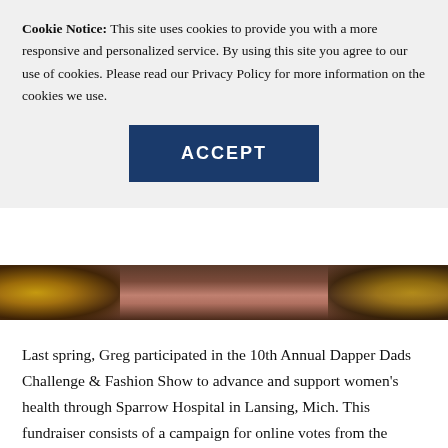Cookie Notice: This site uses cookies to provide you with a more responsive and personalized service. By using this site you agree to our use of cookies. Please read our Privacy Policy for more information on the cookies we use.
[Figure (other): ACCEPT button — dark navy blue rectangular button with bold white uppercase text]
[Figure (photo): A cropped photo strip showing a dimly lit stage scene with warm amber/gold lighting, appearing to show a fashion show or event venue]
Last spring, Greg participated in the 10th Annual Dapper Dads Challenge & Fashion Show to advance and support women's health through Sparrow Hospital in Lansing, Mich. This fundraiser consists of a campaign for online votes from the community and the Dapper Dads Fashion Show, which is the culmination of the challenge. The 2019 fundraiser brought in $542,000, and Greg came in fifth place to fellow competitors from companies like Delta Dental of Michigan, Jackson National Life, Accident Fund